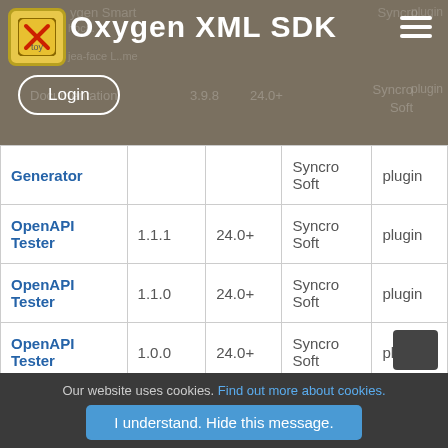Oxygen XML SDK
| Name | Version | Compatible | Vendor | Type |
| --- | --- | --- | --- | --- |
| Generator |  |  | Syncro Soft | plugin |
| OpenAPI Tester | 1.1.1 | 24.0+ | Syncro Soft | plugin |
| OpenAPI Tester | 1.1.0 | 24.0+ | Syncro Soft | plugin |
| OpenAPI Tester | 1.0.0 | 24.0+ | Syncro Soft | plugin |
| XSD to JSON Schema... | 24.0.1... | 24.0... | Syncro... | plugin |
Our website uses cookies. Find out more about cookies.
I understand. Hide this message.